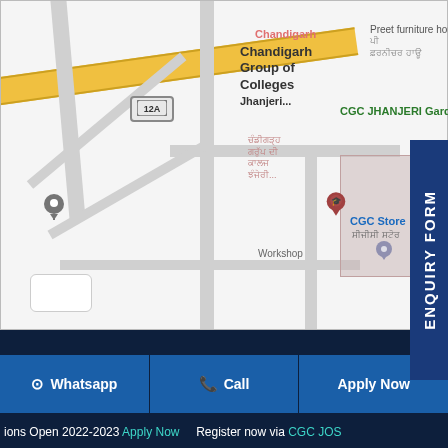[Figure (map): Google Maps screenshot showing Chandigarh Group of Colleges Jhanjeri location. Features yellow main road (12A), gray secondary roads, map pins for CGC college, CGC JHANJERI Garden, CGC Store, and a location marker. Punjabi script labels visible alongside English labels.]
ENQUIRY FORM
Whatsapp | Call | Apply Now
ions Open 2022-2023 Apply Now   Register now via CGC JOS